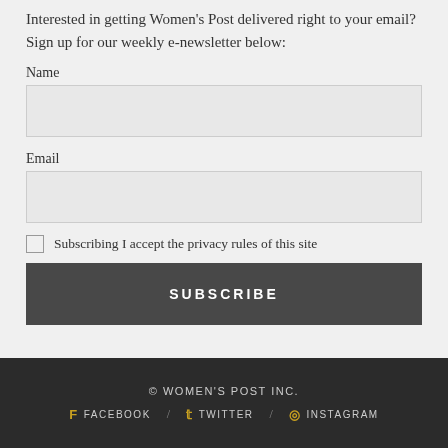Interested in getting Women's Post delivered right to your email? Sign up for our weekly e-newsletter below:
Name
Email
Subscribing I accept the privacy rules of this site
SUBSCRIBE
© WOMEN'S POST INC.
FACEBOOK   TWITTER   INSTAGRAM